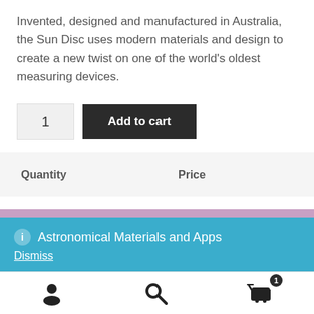Invented, designed and manufactured in Australia, the Sun Disc uses modern materials and design to create a new twist on one of the world’s oldest measuring devices.
1  Add to cart
| Quantity | Price |
| --- | --- |
| 1 - 4 | $22.73 |
ⓘ Astronomical Materials and Apps
Dismiss
[Figure (other): Bottom navigation bar with user icon, search icon, and shopping cart icon with badge showing 1]